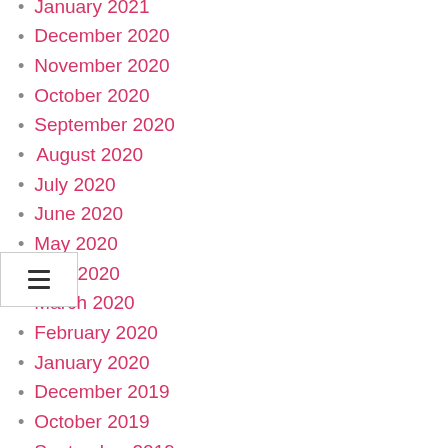January 2021
December 2020
November 2020
October 2020
September 2020
August 2020
July 2020
June 2020
May 2020
April 2020
March 2020
February 2020
January 2020
December 2019
October 2019
September 2019
July 2019
June 2019
May 2019